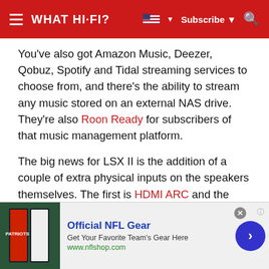WHAT HI-FI? Subscribe
You've also got Amazon Music, Deezer, Qobuz, Spotify and Tidal streaming services to choose from, and there's the ability to stream any music stored on an external NAS drive. They're also Roon Ready for subscribers of that music management platform.
The big news for LSX II is the addition of a couple of extra physical inputs on the speakers themselves. The first is HDMI ARC and the second is a USB-C connection for connecting to a TV and laptop respectively. We tried them both out during testing, playing an episode of Stranger Things Season 4 through Netflix and a Samsung QLED TV, and then
[Figure (infographic): Advertisement banner for Official NFL Gear - 'Get Your Favorite Team's Gear Here - www.nflshop.com' with NFL jersey image and blue circular arrow button]